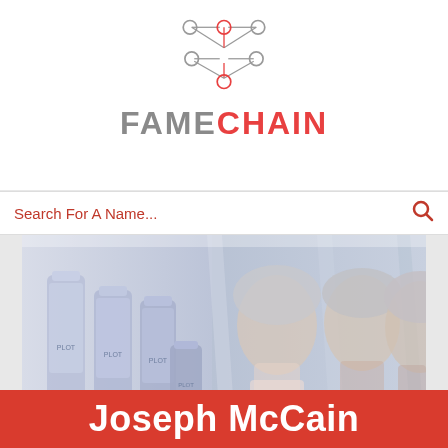[Figure (logo): FameChain logo with network graph nodes and lines above the text. FAME in grey, CHAIN in red.]
Search For A Name...
[Figure (photo): Advertisement banner showing hair care product bottles on the left and three elderly women with silver/white hair on the right.]
Joseph McCain